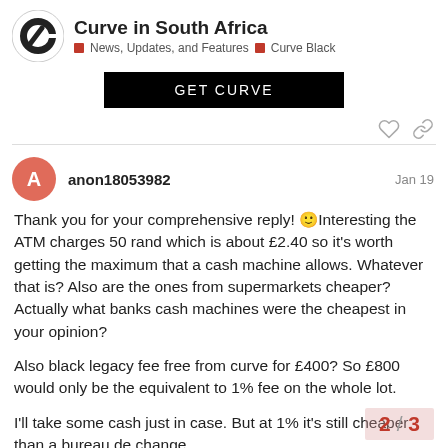Curve in South Africa — News, Updates, and Features | Curve Black
[Figure (logo): Curve app logo — circular C monogram in black and white]
Curve in South Africa
News, Updates, and Features  Curve Black
[Figure (screenshot): GET CURVE button — black CTA banner]
anon18053982  Jan 19
Thank you for your comprehensive reply! 🙂Interesting the ATM charges 50 rand which is about £2.40 so it's worth getting the maximum that a cash machine allows. Whatever that is? Also are the ones from supermarkets cheaper? Actually what banks cash machines were the cheapest in your opinion?

Also black legacy fee free from curve for £400? So £800 would only be the equivalent to 1% fee on the whole lot.

I'll take some cash just in case. But at 1% it's still cheaper than a bureau de change.
2 / 3